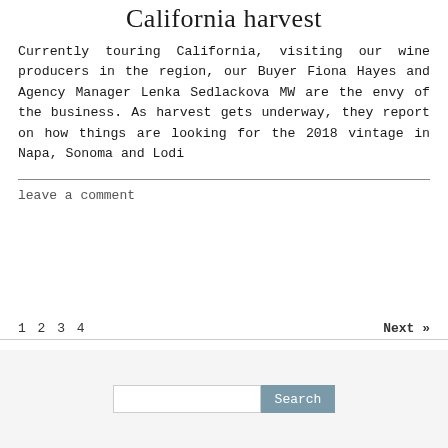California harvest
Currently touring California, visiting our wine producers in the region, our Buyer Fiona Hayes and Agency Manager Lenka Sedlackova MW are the envy of the business. As harvest gets underway, they report on how things are looking for the 2018 vintage in Napa, Sonoma and Lodi
leave a comment
1 2 3 4   Next »
Search